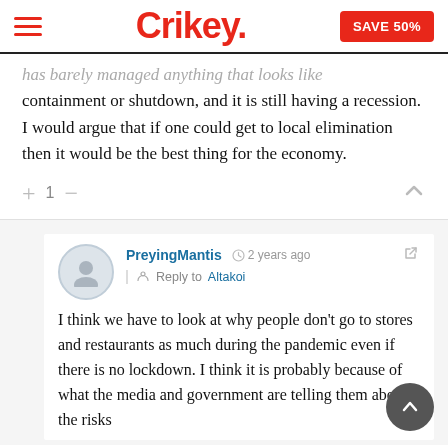Crikey. SAVE 50%
has barely managed anything that looks like containment or shutdown, and it is still having a recession. I would argue that if one could get to local elimination then it would be the best thing for the economy.
+ 1 —
PreyingMantis  2 years ago  Reply to Altakoi
I think we have to look at why people don't go to stores and restaurants as much during the pandemic even if there is no lockdown. I think it is probably because of what the media and government are telling them about the risks